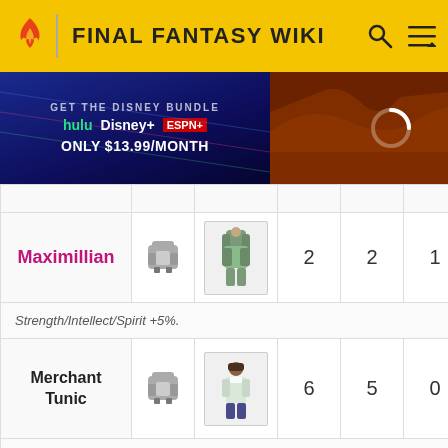FINAL FANTASY WIKI
[Figure (screenshot): Advertisement banner: Hulu, Disney+, ESPN+ bundle at ONLY $13.99/MONTH with streaming content images]
| Name | Icon | Character | Col1 | Col2 | Col3 |
| --- | --- | --- | --- | --- | --- |
| Maximillian | [armor icon] | [character image] | 2 | 2 | 1 |
|  | Strength/Intellect/Spirit +5%. |  |  |  |  |
| Merchant Tunic | [armor icon] | [character image] | 6 | 5 | 0 |
|  | Intellect/Spirit +10%. |  |  |  |  |
| Modern Dress | [armor icon] | [character image] | 2 | 2 | 1 |